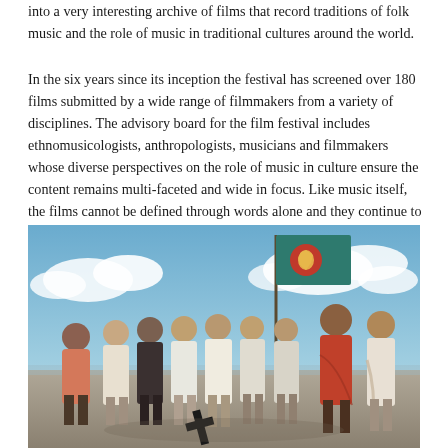into a very interesting archive of films that record traditions of folk music and the role of music in traditional cultures around the world.
In the six years since its inception the festival has screened over 180 films submitted by a wide range of filmmakers from a variety of disciplines. The advisory board for the film festival includes ethnomusicologists, anthropologists, musicians and filmmakers whose diverse perspectives on the role of music in culture ensure the content remains multi-faceted and wide in focus. Like music itself, the films cannot be defined through words alone and they continue to expand the concept of what a folk music film really is.
[Figure (photo): A color photograph showing a group of people from behind, standing outdoors on what appears to be a beach or open ground. They are facing away from the camera. One person on the right wears an orange/red outfit and has a long braid. A teal/dark green flag with a red circle containing a yellow map silhouette (Bangladesh flag) is visible prominently in the upper center-right of the image. The sky is partly cloudy with blue sky. Some people carry what appears to be a cross-like structure.]